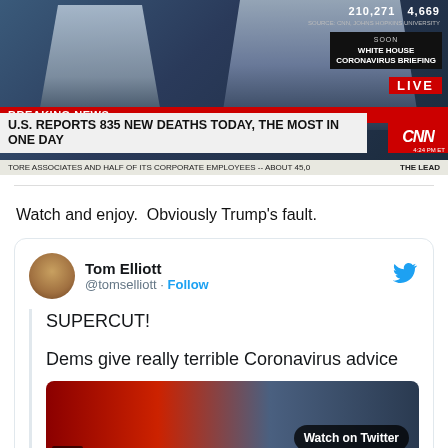[Figure (screenshot): CNN Breaking News screenshot showing two male news anchors, headline reads 'U.S. REPORTS 835 NEW DEATHS TODAY, THE MOST IN ONE DAY', with CNN logo, LIVE badge, stats 210,271 and 4,669 in top right, 'SOON WHITE HOUSE CORONAVIRUS BRIEFING' box, ticker at bottom, time 4:24 PM ET]
Watch and enjoy.  Obviously Trump's fault.
[Figure (screenshot): Embedded tweet from Tom Elliott (@tomselliott) with Follow button and Twitter bird logo. Tweet text: 'SUPERCUT! Dems give really terrible Coronavirus advice' with a video preview thumbnail showing 'Watch on Twitter' button and 'graber' watermark]